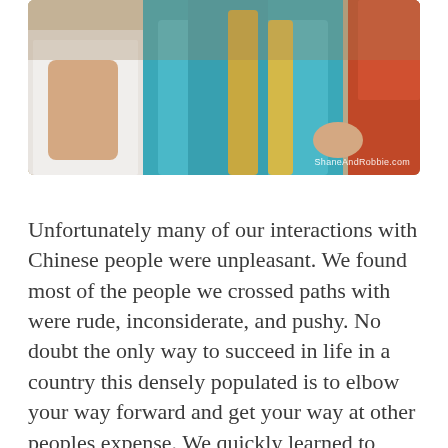[Figure (photo): Photo of people in a restaurant or bar setting; a person in a white shirt and another in teal clothing are visible near a counter or bar. Watermark reads ShaneAndRobbie.com in the lower right.]
Unfortunately many of our interactions with Chinese people were unpleasant. We found most of the people we crossed paths with were rude, inconsiderate, and pushy. No doubt the only way to succeed in life in a country this densely populated is to elbow your way forward and get your way at other peoples expense. We quickly learned to detest their inability to follow even the simplest instructions, to behave like civilised human beings in crowds, and their lack of consideration for anyone else. This seems to be a nation populated by...